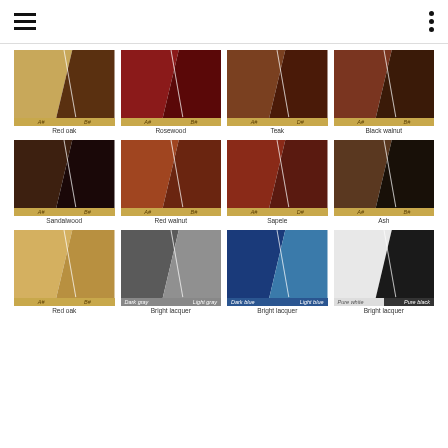Navigation header with hamburger menu and dots menu
[Figure (illustration): Color swatch grid showing 12 wood and lacquer finish options: Red oak, Rosewood, Teak, Black walnut, Sandalwood, Red walnut, Sapele, Ash, Red oak, Bright lacquer (dark gray/light gray), Bright lacquer (dark blue/light blue), Bright lacquer (pure white/pure black). Each swatch shows two color variants labeled A# and B#.]